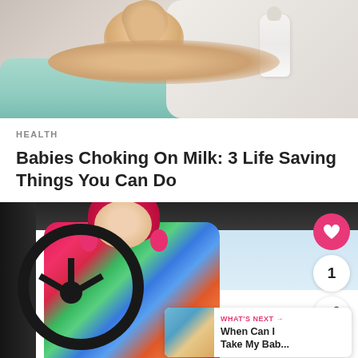[Figure (photo): Baby lying down drinking from a white bottle, covered with a mint green blanket]
HEALTH
Babies Choking On Milk: 3 Life Saving Things You Can Do
[Figure (photo): Young child in bright pink hat and colorful jacket sitting behind a steering wheel, with social media UI overlays including a heart button, count of 1, share button, and a 'What's Next' card showing 'When Can I Take My Bab...']